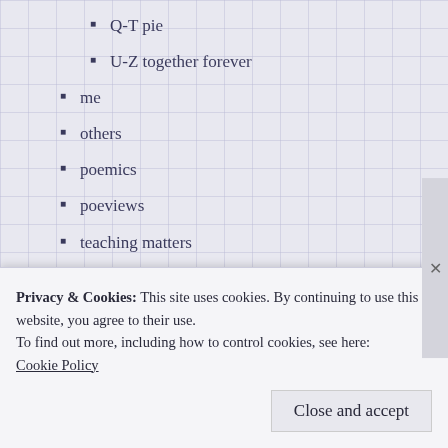Q-T pie
U-Z together forever
me
others
poemics
poeviews
teaching matters
William Carlos Williams
wormholes
RECENT LEAKS
Privacy & Cookies: This site uses cookies. By continuing to use this website, you agree to their use.
To find out more, including how to control cookies, see here: Cookie Policy
Close and accept